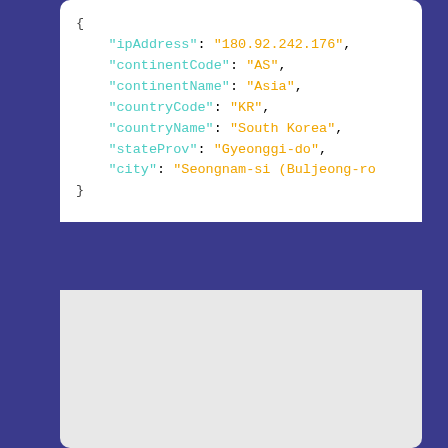{
    "ipAddress": "180.92.242.176",
    "continentCode": "AS",
    "continentName": "Asia",
    "countryCode": "KR",
    "countryName": "South Korea",
    "stateProv": "Gyeonggi-do",
    "city": "Seongnam-si (Buljeong-ro"
}